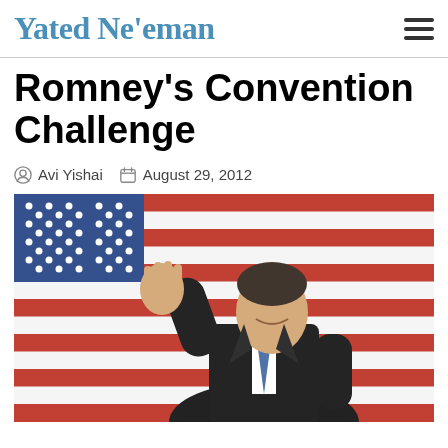Yated Ne'eman
Romney's Convention Challenge
Avi Yishai   August 29, 2012
[Figure (photo): Mitt Romney waving in front of an American flag backdrop, wearing a dark suit]